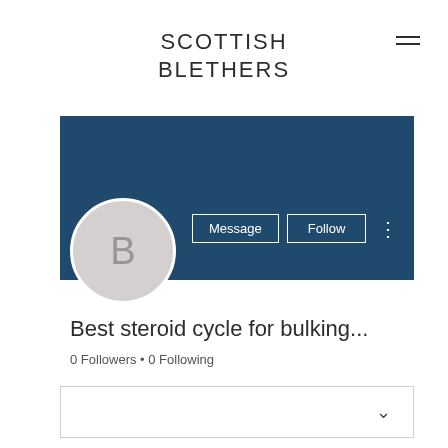SCOTTISH BLETHERS
[Figure (screenshot): User profile banner in dark navy blue background with Message and Follow buttons and three-dot menu, plus a circular avatar with letter B]
Best steroid cycle for bulking...
0 Followers • 0 Following
[Figure (other): Dropdown/collapsible box with chevron down icon]
Profile